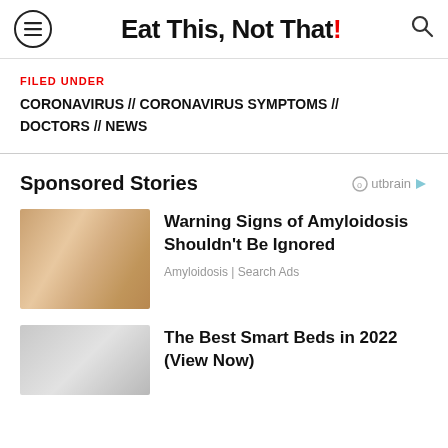Eat This, Not That!
FILED UNDER
CORONAVIRUS // CORONAVIRUS SYMPTOMS // DOCTORS // NEWS
Sponsored Stories
Warning Signs of Amyloidosis Shouldn't Be Ignored — Amyloidosis | Search Ads
The Best Smart Beds in 2022 (View Now)